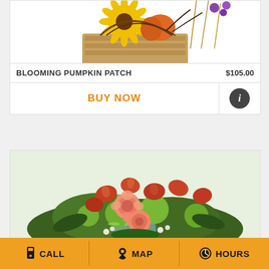[Figure (photo): Partial view of Blooming Pumpkin Patch floral arrangement with sunflowers, purple flowers, wheat stalks in a basket, cropped at top]
BLOOMING PUMPKIN PATCH   $105.00
BUY NOW
[Figure (photo): Floral arrangement with orange/red alstroemeria, salmon roses, and green spider chrysanthemums in a glass vase]
CALL   MAP   HOURS